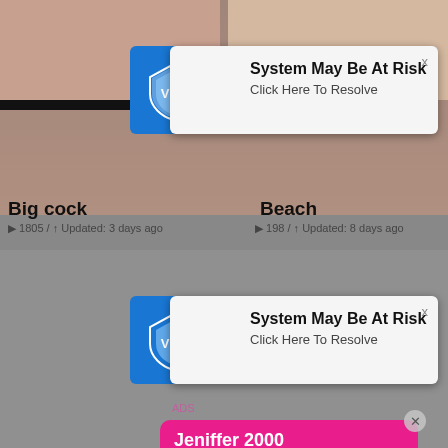[Figure (screenshot): Screenshot of a webpage with multiple overlapping pop-up ads. Background shows adult content thumbnails with text 'Big cock', '1805 / Updated: 3 days ago', 'Beach', '198 / Updated: 8 days ago'. Two VPN security warning pop-ups saying 'System May Be At Risk / Click Here To Resolve'. A live chat overlay for 'Jeniffer 2000 (00:12)' with LIVE badge. A fake missed call notification '(1)Missed Call from Eliza / pleeease call me back.. I miss you!' with audio player controls showing 0:00 and 3:23.]